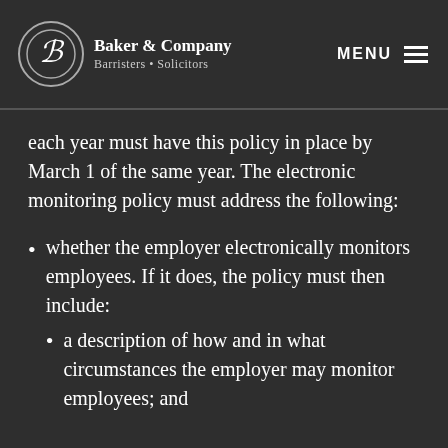Baker & Company — Barristers • Solicitors
each year must have this policy in place by March 1 of the same year. The electronic monitoring policy must address the following:
whether the employer electronically monitors employees. If it does, the policy must then include:
a description of how and in what circumstances the employer may monitor employees; and